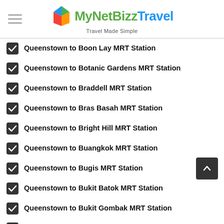MyNetBizzTravel — Travel Made Simple
Queenstown to Boon Lay MRT Station
Queenstown to Botanic Gardens MRT Station
Queenstown to Braddell MRT Station
Queenstown to Bras Basah MRT Station
Queenstown to Bright Hill MRT Station
Queenstown to Buangkok MRT Station
Queenstown to Bugis MRT Station
Queenstown to Bukit Batok MRT Station
Queenstown to Bukit Gombak MRT Station
Queenstown to Bukit Panjang MRT Station
Queenstown to Buona Vista MRT Station